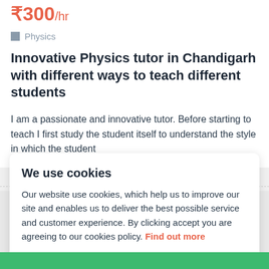₹300/hr
Physics
Innovative Physics tutor in Chandigarh with different ways to teach different students
I am a passionate and innovative tutor. Before starting to teach I first study the student itself to understand the style in which the student
We use cookies
Our website use cookies, which help us to improve our site and enables us to deliver the best possible service and customer experience. By clicking accept you are agreeing to our cookies policy. Find out more
Accept